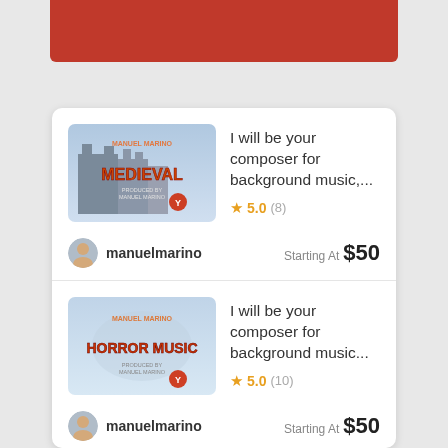[Figure (screenshot): Top navigation bar in dark red/crimson color]
I will be your composer for background music,... | Rating: 5.0 (8) | Seller: manuelmarino | Starting At $50
I will be your composer for background music... | Rating: 5.0 (10) | Seller: manuelmarino | Starting At $50
I will be your composer for background music...